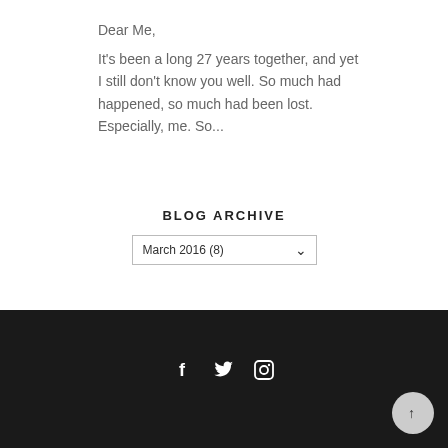Dear Me,
It's been a long 27 years together, and yet I still don't know you well. So much had happened, so much had been lost. Especially, me. So...
BLOG ARCHIVE
March 2016 (8)
Social icons: Facebook, Twitter, Instagram. Back to top button.